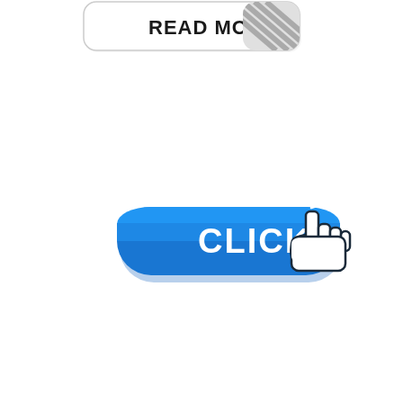[Figure (illustration): A 'READ MORE' button sticker at the top with diagonal stripe pattern on the right side, and a blue rounded rectangle 'CLICK' button with a hand/pointer cursor icon with click sparkle lines.]